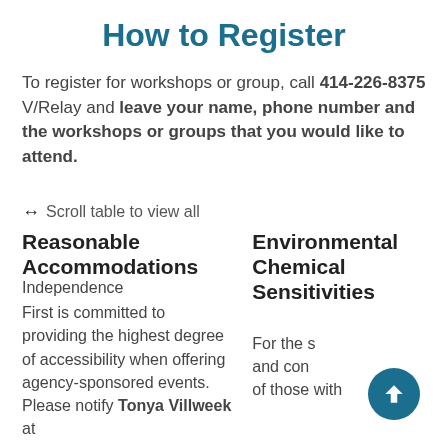How to Register
To register for workshops or group, call 414-226-8375 V/Relay and leave your name, phone number and the workshops or groups that you would like to attend.
↔ Scroll table to view all
Reasonable Accommodations Independence First is committed to providing the highest degree of accessibility when offering agency-sponsored events. Please notify Tonya Villweek at
Environmental Chemical Sensitivities For the s... and con... of those with